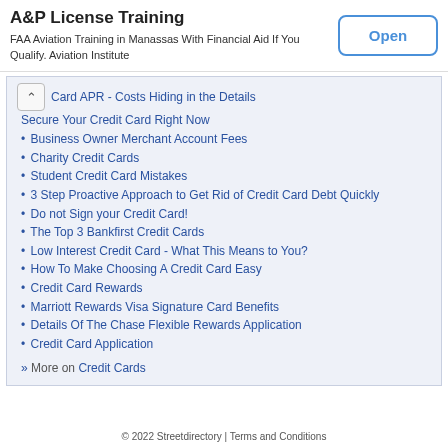[Figure (infographic): Advertisement banner for A&P License Training - FAA Aviation Training in Manassas with Financial Aid If You Qualify. Aviation Institute. Has an Open button.]
Card APR - Costs Hiding in the Details
Secure Your Credit Card Right Now
Business Owner Merchant Account Fees
Charity Credit Cards
Student Credit Card Mistakes
3 Step Proactive Approach to Get Rid of Credit Card Debt Quickly
Do not Sign your Credit Card!
The Top 3 Bankfirst Credit Cards
Low Interest Credit Card - What This Means to You?
How To Make Choosing A Credit Card Easy
Credit Card Rewards
Marriott Rewards Visa Signature Card Benefits
Details Of The Chase Flexible Rewards Application
Credit Card Application
» More on Credit Cards
© 2022 Streetdirectory | Terms and Conditions